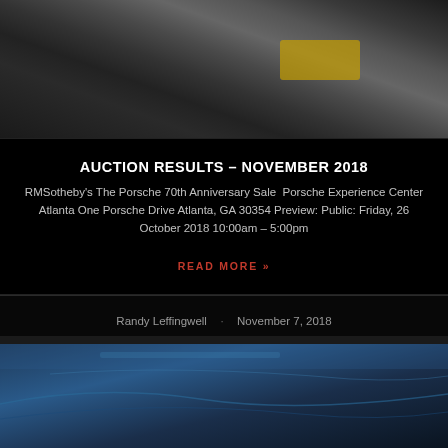[Figure (photo): Overhead/aerial view of a parking area or car museum interior with vehicles visible from above, dark atmospheric lighting]
AUCTION RESULTS – NOVEMBER 2018
RMSotheby's The Porsche 70th Anniversary Sale  Porsche Experience Center Atlanta One Porsche Drive Atlanta, GA 30354 Preview: Public: Friday, 26 October 2018 10:00am – 5:00pm
READ MORE »
Randy Leffingwell · November 7, 2018
[Figure (photo): Partial view of a second article card with blue-tinted automotive photo]